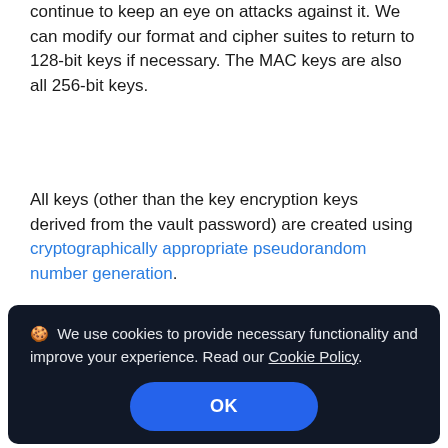continue to keep an eye on attacks against it. We can modify our format and cipher suites to return to 128-bit keys if necessary. The MAC keys are also all 256-bit keys.
All keys (other than the key encryption keys derived from the vault password) are created using cryptographically appropriate pseudorandom number generation.
UUIDs
🍪 We use cookies to provide necessary functionality and improve your experience. Read our Cookie Policy.